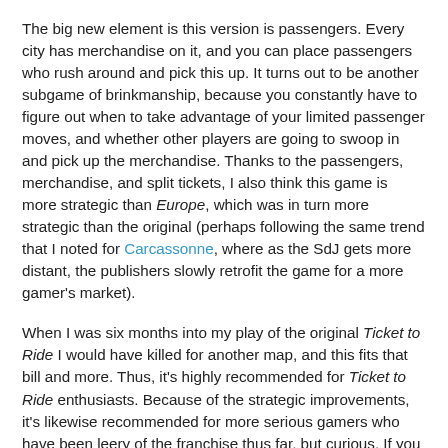The big new element is this version is passengers. Every city has merchandise on it, and you can place passengers who rush around and pick this up. It turns out to be another subgame of brinkmanship, because you constantly have to figure out when to take advantage of your limited passenger moves, and whether other players are going to swoop in and pick up the merchandise. Thanks to the passengers, merchandise, and split tickets, I also think this game is more strategic than Europe, which was in turn more strategic than the original (perhaps following the same trend that I noted for Carcassonne, where as the SdJ gets more distant, the publishers slowly retrofit the game for a more gamer's market).
When I was six months into my play of the original Ticket to Ride I would have killed for another map, and this fits that bill and more. Thus, it's highly recommended for Ticket to Ride enthusiasts. Because of the strategic improvements, it's likewise recommended for more serious gamers who have been leery of the franchise thus far, but curious. If you have burned out on Ticket to Ride, this probably won't be enough